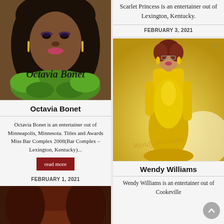[Figure (photo): Octavia Bonet performer photo — woman in green feather boa with long dark hair, name overlay text 'Octavia Bonet' in italic serif]
Octavia Bonet
Octavia Bonet is an entertainer out of Minneapolis, Minnesota. Titles and Awards Miss Bar Complex 2008(Bar Complex – Lexington, Kentucky)...
read more
FEBRUARY 1, 2021
[Figure (photo): Partial photo at bottom left — dark reddish-brown hair]
Scarlet Princess is an entertainer out of Lexington, Kentucky.
FEBRUARY 3, 2021
[Figure (photo): Wendy Williams performer photo — woman in full-length yellow gown with updo auburn hair and glasses, script watermark 'Wendy Williams']
Wendy Williams
Wendy Williams is an entertainer out of Cookeville